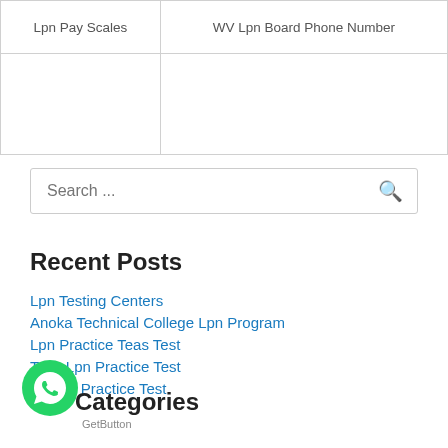| Lpn Pay Scales | WV Lpn Board Phone Number |
| --- | --- |
|  |
Search ...
Recent Posts
Lpn Testing Centers
Anoka Technical College Lpn Program
Lpn Practice Teas Test
Teas Lpn Practice Test
Ati Lpn Practice Test
[Figure (logo): WhatsApp chat button (green circle with phone/chat icon)]
Categories
GetButton